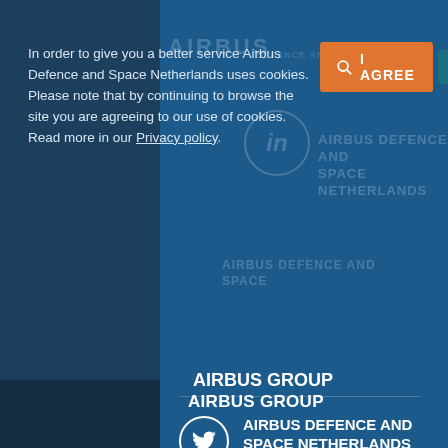In order to give you a better service Airbus Defence and Space Netherlands uses cookies. Please note that by continuing to browse the site you are agreeing to our use of cookies. Read more in our Privacy policy.
[Figure (screenshot): Cookie consent banner with orange I AGREE button and teal DECLINE button, overlaid on Airbus Defence and Space Netherlands website with watermark logos]
AIRBUS GROUP
AIRBUS DEFENCE AND SPACE NETHERLANDS
AIRBUS DEFENCE AND SPACES
AIRBUS GROUP
AIRBUSDS NETHERLANDS